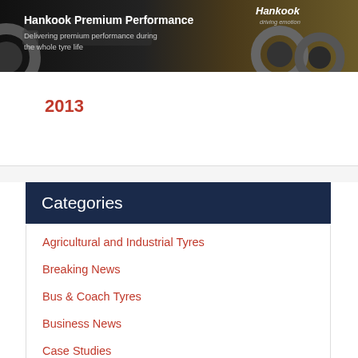[Figure (photo): Hankook Premium Performance banner showing truck tyres with dark background and brand logo]
2013
Categories
Agricultural and Industrial Tyres
Breaking News
Bus & Coach Tyres
Business News
Case Studies
Contract Wins
People